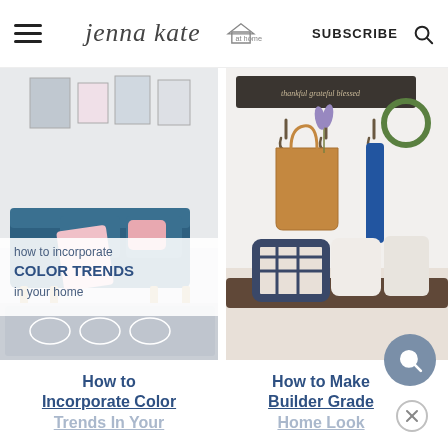Jenna Kate at Home — SUBSCRIBE
[Figure (photo): Left blog post thumbnail: living room with teal sofa, pink blanket and pillow, geometric rug; overlay text reads 'how to incorporate COLOR TRENDS in your home']
[Figure (photo): Right blog post thumbnail: entryway with wall hooks holding a tan leather tote bag and blue item, lavender flowers, wreath, plaid and cream pillows on bench]
How to Incorporate Color Trends In Your
How to Make Builder Grade Home Look